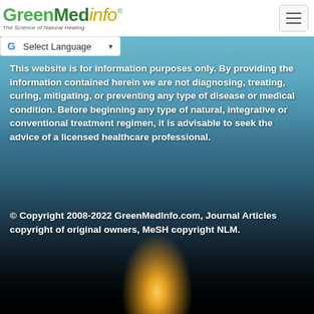GreenMedInfo® — The Science of Natural Healing
Select Language ▼
This website is for information purposes only. By providing the information contained herein we are not diagnosing, treating, curing, mitigating, or preventing any type of disease or medical condition. Before beginning any type of natural, integrative or conventional treatment regimen, it is advisable to seek the advice of a licensed healthcare professional.
© Copyright 2008-2022 GreenMedInfo.com, Journal Articles copyright of original owners, MeSH copyright NLM.